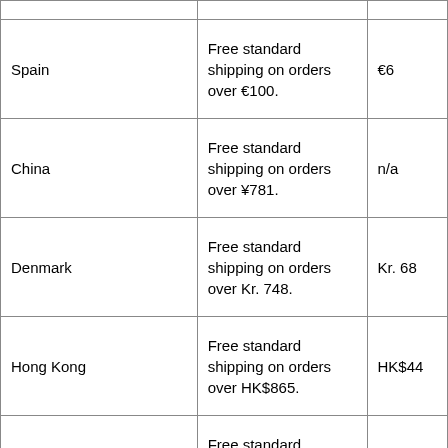| Country | Free Shipping Threshold | Standard Shipping Cost |
| --- | --- | --- |
| Spain | Free standard shipping on orders over €100. | €6 |
| China | Free standard shipping on orders over ¥781. | n/a |
| Denmark | Free standard shipping on orders over Kr. 748. | Kr. 68 |
| Hong Kong | Free standard shipping on orders over HK$865. | HK$44 |
| Malaysia | Free standard shipping on orders over RM434. | RM68 |